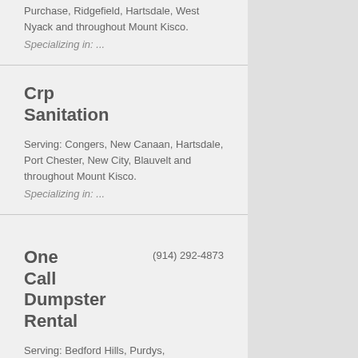Purchase, Ridgefield, Hartsdale, West Nyack and throughout Mount Kisco.
Specializing in: ...
Crp Sanitation
Serving: Congers, New Canaan, Hartsdale, Port Chester, New City, Blauvelt and throughout Mount Kisco.
Specializing in: ...
One Call Dumpster Rental
(914) 292-4873
Serving: Bedford Hills, Purdys,